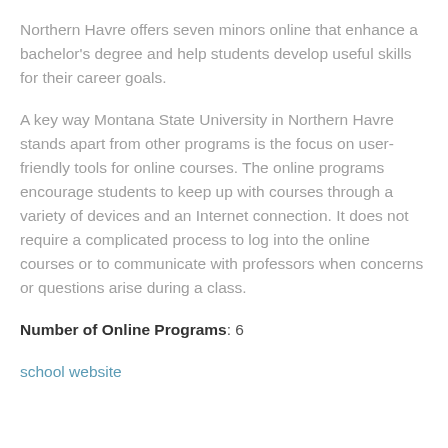Northern Havre offers seven minors online that enhance a bachelor's degree and help students develop useful skills for their career goals.
A key way Montana State University in Northern Havre stands apart from other programs is the focus on user-friendly tools for online courses. The online programs encourage students to keep up with courses through a variety of devices and an Internet connection. It does not require a complicated process to log into the online courses or to communicate with professors when concerns or questions arise during a class.
Number of Online Programs: 6
school website